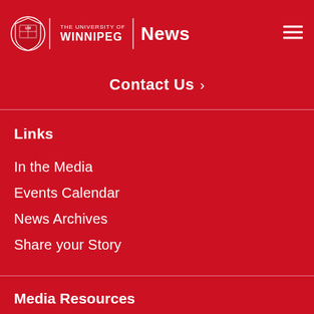THE UNIVERSITY OF WINNIPEG | News
Contact Us >
Links
In the Media
Events Calendar
News Archives
Share your Story
Media Resources
Contact Marketing & Communications